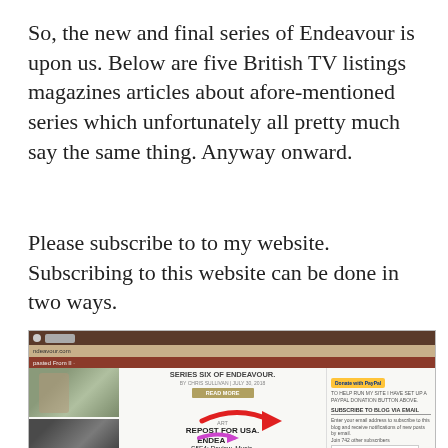So, the new and final series of Endeavour is upon us. Below are five British TV listings magazines articles about afore-mentioned series which unfortunately all pretty much say the same thing. Anyway onward.
Please subscribe to to my website. Subscribing to this website can be done in two ways.
[Figure (screenshot): Screenshot of the endeavour.com website showing blog posts about Series Six of Endeavour, with a PayPal donation button and email subscription form on the right sidebar. Red arrow pointing to the email subscription area.]